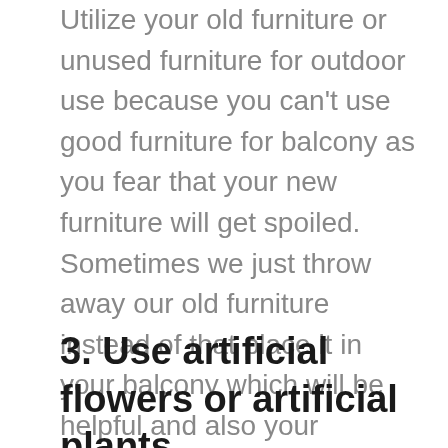Utilize your old furniture or unused furniture for outdoor use because you can't use good furniture for balcony as you fear that your new furniture will get spoiled. Sometimes we just throw away our old furniture instead of that place it in your balcony which will be helpful and also your unused furniture will get some work to do. Example use your magazine shelf for keeping magazines so that whenever you want you can sit &relax and read the magazine while watching beautiful nature. Also you can use old table for placing showpieces.
3. Use artificial flowers or artificial plants.